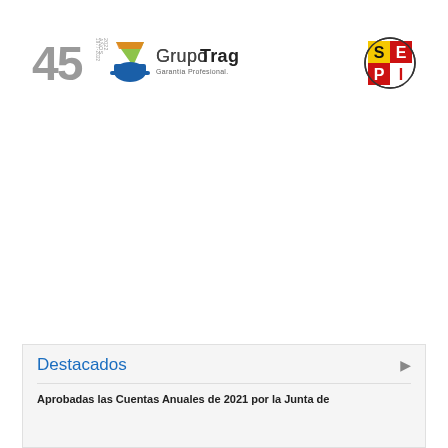[Figure (logo): Grupo Tragsa logo with 45 years anniversary mark (1977-2022), construction helmet icon in green and blue, text 'GrupoTragsa' and 'Garantía Profesional. Servicio Público']
[Figure (logo): SEPI logo: circular emblem with letters S, E, P, I in red, yellow and black colorblocks]
Destacados
Aprobadas las Cuentas Anuales de 2021 por la Junta de